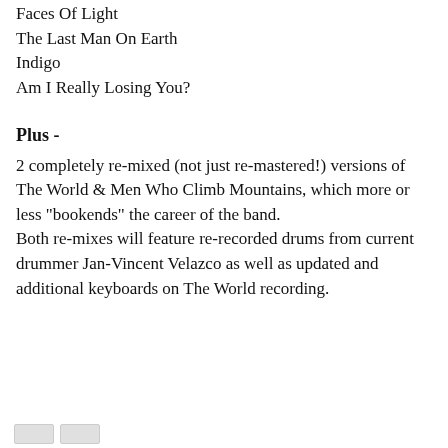Faces Of Light
The Last Man On Earth
Indigo
Am I Really Losing You?
Plus -
2 completely re-mixed (not just re-mastered!) versions of The World & Men Who Climb Mountains, which more or less "bookends" the career of the band.
Both re-mixes will feature re-recorded drums from current drummer Jan-Vincent Velazco as well as updated and additional keyboards on The World recording.